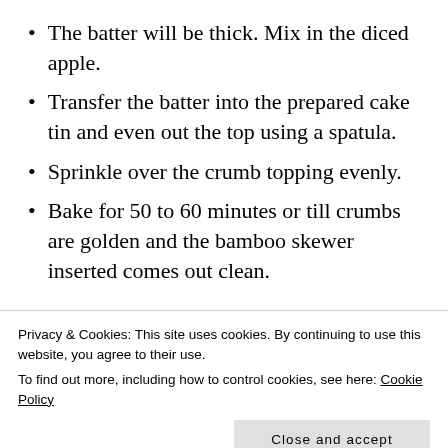The batter will be thick. Mix in the diced apple.
Transfer the batter into the prepared cake tin and even out the top using a spatula.
Sprinkle over the crumb topping evenly.
Bake for 50 to 60 minutes or till crumbs are golden and the bamboo skewer inserted comes out clean.
Serving Suggestion:
Privacy & Cookies: This site uses cookies. By continuing to use this website, you agree to their use.
To find out more, including how to control cookies, see here: Cookie Policy
This recipe has been adapted from the book